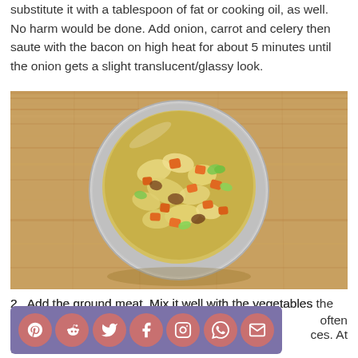substitute it with a tablespoon of fat or cooking oil, as well. No harm would be done. Add onion, carrot and celery then saute with the bacon on high heat for about 5 minutes until the onion gets a slight translucent/glassy look.
[Figure (photo): Overhead view of a metal bowl on a wooden cutting board containing sautéed diced onions, carrots, and celery.]
2. Add the ground meat. Mix it well with the vegetables the[...] often unt[...] ces. At thi[...]
[Figure (infographic): Social media sharing bar with icons for Pinterest, Reddit, Twitter, Facebook, Instagram, WhatsApp, and Email on a purple/mauve background.]